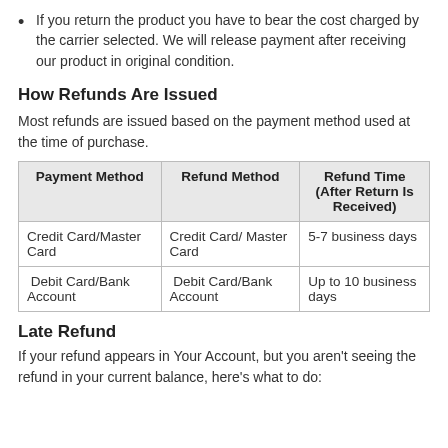If you return the product you have to bear the cost charged by the carrier selected. We will release payment after receiving our product in original condition.
How Refunds Are Issued
Most refunds are issued based on the payment method used at the time of purchase.
| Payment Method | Refund Method | Refund Time (After Return Is Received) |
| --- | --- | --- |
| Credit Card/Master Card | Credit Card/ Master Card | 5-7 business days |
| Debit Card/Bank Account | Debit Card/Bank Account | Up to 10 business days |
Late Refund
If your refund appears in Your Account, but you aren't seeing the refund in your current balance, here's what to do: